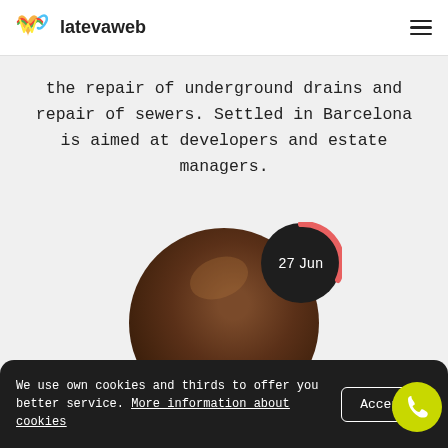latevaweb
the repair of underground drains and repair of sewers. Settled in Barcelona is aimed at developers and estate managers.
[Figure (photo): Circular photo of a plumbing/drain pipe scene with a dark background and a date badge showing '27 Jun' with a salmon/pink arc indicator on the right side.]
We use own cookies and thirds to offer you better service. More information about cookies Accept